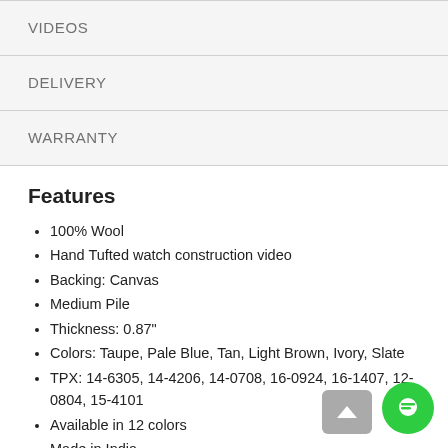VIDEOS
DELIVERY
WARRANTY
Features
100% Wool
Hand Tufted watch construction video
Backing: Canvas
Medium Pile
Thickness: 0.87"
Colors: Taupe, Pale Blue, Tan, Light Brown, Ivory, Slate
TPX: 14-6305, 14-4206, 14-0708, 16-0924, 16-1407, 12-0804, 15-4101
Available in 12 colors
Made in India
Custom Sizes Available
Standard Lead Time (28 - 30 Weeks)
Expedited Lead Time (22 - 24 Weeks)